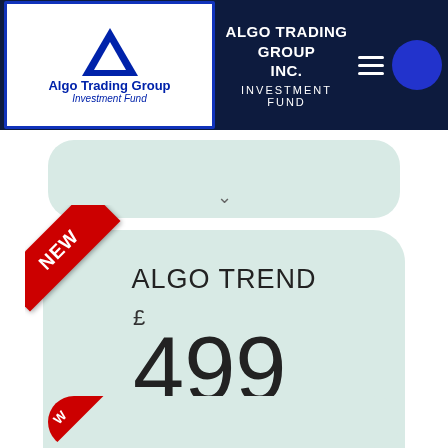ALGO TRADING GROUP INC. INVESTMENT FUND
[Figure (logo): Algo Trading Group Investment Fund logo with blue triangle/mountain icon]
ALGO TREND
£ 499
Buy Now